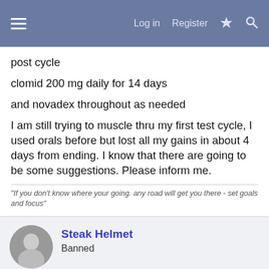Log in  Register
post cycle
clomid 200 mg daily for 14 days
and novadex throughout as needed
I am still trying to muscle thru my first test cycle, I used orals before but lost all my gains in about 4 days from ending. I know that there are going to be some suggestions. Please inform me.
"If you don't know where your going. any road will get you there - set goals and focus"
Steak Helmet
Banned
May 10, 2003  #4
If you can, run the D's for 4 to 6 weeks. Also, allow time after the